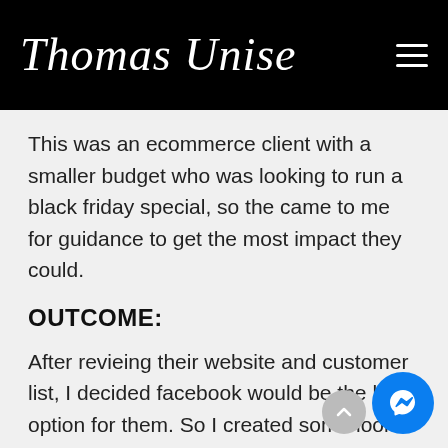Thomas Unise
This was an ecommerce client with a smaller budget who was looking to run a black friday special, so the came to me for guidance to get the most impact they could.
OUTCOME:
After revieing their website and customer list, I decided facebook would be the best option for them. So I created some look-a-like audiences and remarketing